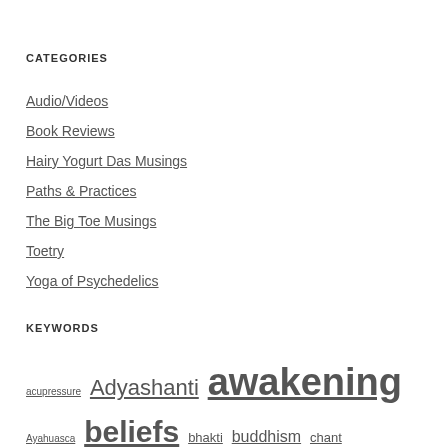CATEGORIES
Audio/Videos
Book Reviews
Hairy Yogurt Das Musings
Paths & Practices
The Big Toe Musings
Toetry
Yoga of Psychedelics
KEYWORDS
acupressure Adyashanti awakening Ayahuasca beliefs bhakti buddhism chant dualism ego enlightenment fight club fred davis god jod mckonna jnana kriha das krishna love lsd